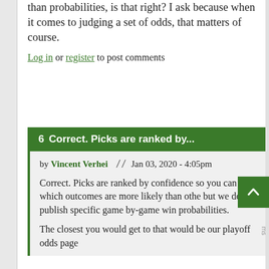than probabilities, is that right? I ask because when it comes to judging a set of odds, that matters of course.
Log in or register to post comments
6  Correct. Picks are ranked by...
by Vincent Verhei // Jan 03, 2020 - 4:05pm
Correct. Picks are ranked by confidence so you can infer which outcomes are more likely than othe but we do not publish specific game by-game win probabilities.
The closest you would get to that would be our playoff odds page